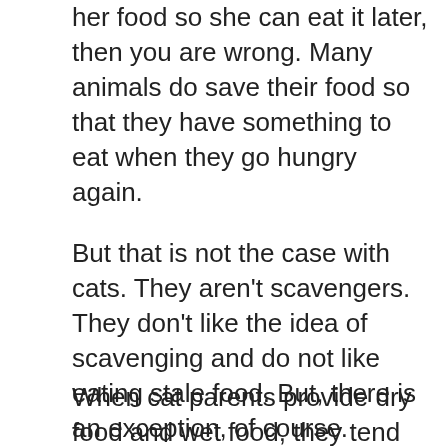her food so she can eat it later, then you are wrong. Many animals do save their food so that they have something to eat when they go hungry again.
But that is not the case with cats. They aren't scavengers. They don't like the idea of scavenging and do not like eating stale food. But, there is an exception, of course.
When cat parents provide dry food and wet food, they tend to save dry food. So, we need to focus on what kind of food our cat is hiding. If she hides wet food, then we need to find another reason for her behavior.
Remember, If you have trained her to think